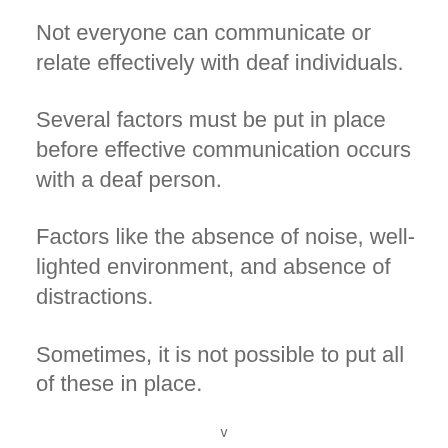Not everyone can communicate or relate effectively with deaf individuals.
Several factors must be put in place before effective communication occurs with a deaf person.
Factors like the absence of noise, well-lighted environment, and absence of distractions.
Sometimes, it is not possible to put all of these in place.
v